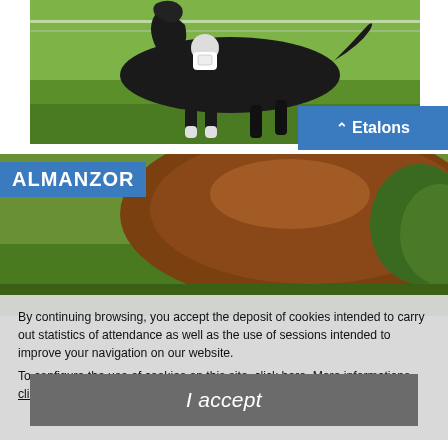[Figure (photo): Horse and jockey galloping on a green racetrack, viewed from the side. The horse is dark/black with white leg markings. The jockey is wearing a white silks with number bib.]
Etalons
[Figure (photo): Close-up of a brown horse (Almanzor) showing its neck and body, labeled ALMANZOR in the top-left corner on a blue background.]
By continuing browsing, you accept the deposit of cookies intended to carry out statistics of attendance as well as the use of sessions intended to improve your navigation on our website.
To configure the use of cookies on this site, click here. More informations, click here.
I accept